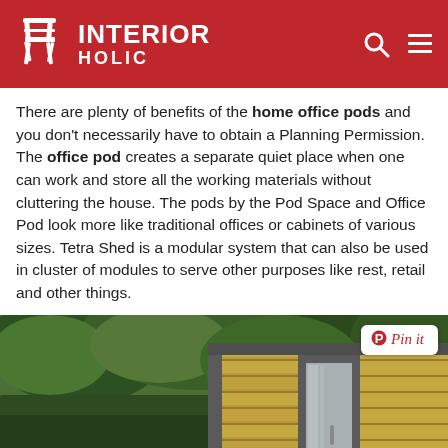INTERIOR HOLIC
There are plenty of benefits of the home office pods and you don't necessarily have to obtain a Planning Permission. The office pod creates a separate quiet place when one can work and store all the working materials without cluttering the house. The pods by the Pod Space and Office Pod look more like traditional offices or cabinets of various sizes. Tetra Shed is a modular system that can also be used in cluster of modules to serve other purposes like rest, retail and other things.
[Figure (photo): A modern wooden home office pod with grey metal framing and large glass door, situated in a garden with brick wall and trees in background. A 'Pin it' button overlay appears in the top right corner.]